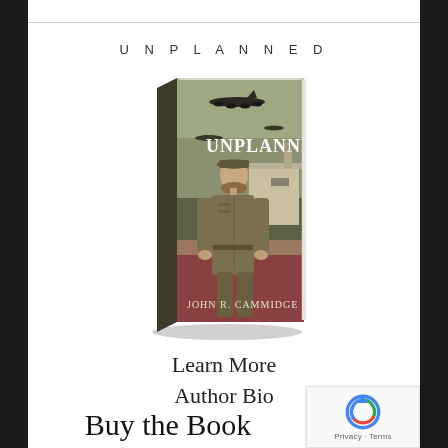UNPLANNED
[Figure (illustration): 3D rendered book cover of 'UNPLANNED' by John R. Cammidge. The cover shows a WWII-era woman in military uniform standing in front of an airfield building with bombers flying overhead. The book title 'UNPLANNED' appears in white text and the author name 'JOHN R. CAMMIDGE' appears at the bottom.]
Learn More
Author Bio
Buy the Book
[Figure (logo): Google reCAPTCHA badge with blue/green/red circular arrow logo and 'Privacy - Terms' text below]